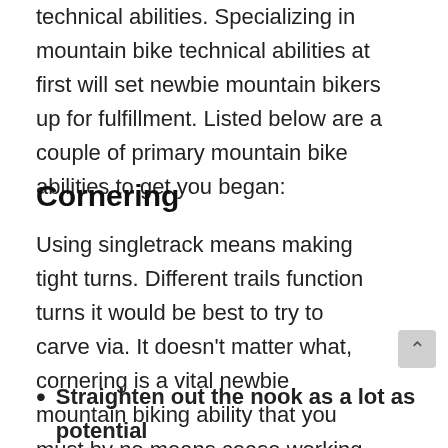technical abilities. Specializing in mountain bike technical abilities at first will set newbie mountain bikers up for fulfillment. Listed below are a couple of primary mountain bike abilities to get you began:
Cornering
Using singletrack means making tight turns. Different trails function turns it would be best to try to carve via. It doesn’t matter what, cornering is a vital newbie mountain biking ability that you must by no means cease working towards and making an attempt to enhance. Right here’s how you can practice it:
Straighten out the nook as a lot as potential